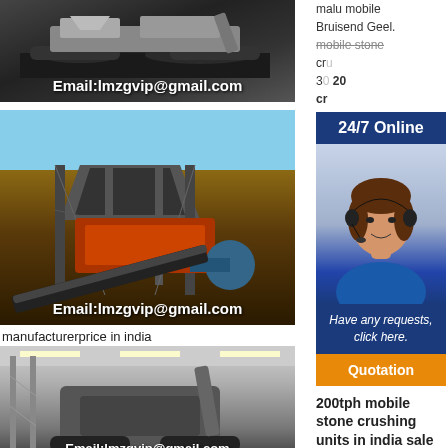[Figure (photo): Mobile stone crushing machine on tracks, dark background, with email overlay]
[Figure (photo): Industrial crushing plant with hopper and conveyor, outdoor setting, email overlay]
manufacturerprice in india
[Figure (photo): Indoor large stone crushing machine in warehouse, email overlay]
malu mobile Bruisend Geel. mobile stone crushing. 300tph mobile
[Figure (infographic): 24/7 Online customer service banner with agent photo, Have any requests click here, and Quotation button]
200tph mobile stone crushing units in india sale
200tph mobile stone crushing units in india